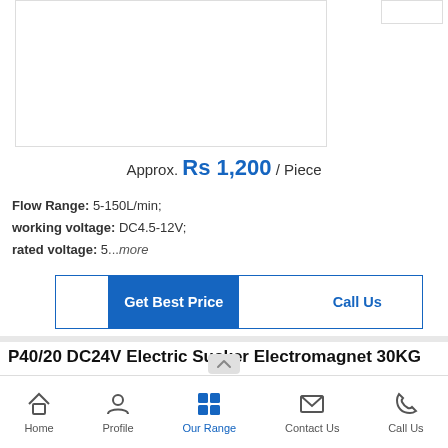[Figure (photo): Product image placeholder area (white rectangle with border)]
Approx. Rs 1,200 / Piece
Flow Range: 5-150L/min; working voltage: DC4.5-12V; rated voltage: 5...more
Get Best Price
Call Us
P40/20 DC24V Electric Sucker Electromagnet 30KG
Home | Profile | Our Range | Contact Us | Call Us